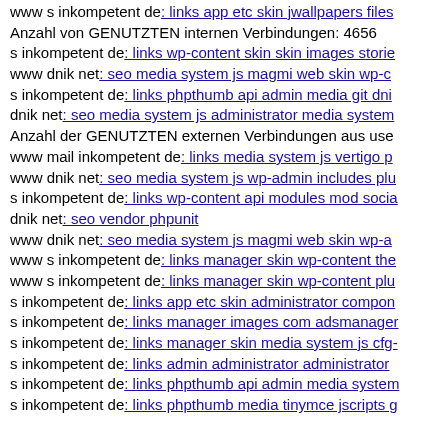www s inkompetent de: links app etc skin jwallpapers files
Anzahl von GENUTZTEN internen Verbindungen: 4656
s inkompetent de: links wp-content skin skin images stories
www dnik net: seo media system js magmi web skin wp-c
s inkompetent de: links phpthumb api admin media git dni
dnik net: seo media system js administrator media system
Anzahl der GENUTZTEN externen Verbindungen aus use
www mail inkompetent de: links media system js vertigo p
www dnik net: seo media system js wp-admin includes plu
s inkompetent de: links wp-content api modules mod socia
dnik net: seo vendor phpunit
www dnik net: seo media system js magmi web skin wp-a
www s inkompetent de: links manager skin wp-content the
www s inkompetent de: links manager skin wp-content plu
s inkompetent de: links app etc skin administrator compon
s inkompetent de: links manager images com adsmanager
s inkompetent de: links manager skin media system js cfg-
s inkompetent de: links admin administrator administrator
s inkompetent de: links phpthumb api admin media system
s inkompetent de: links phpthumb media tinymce jscripts g